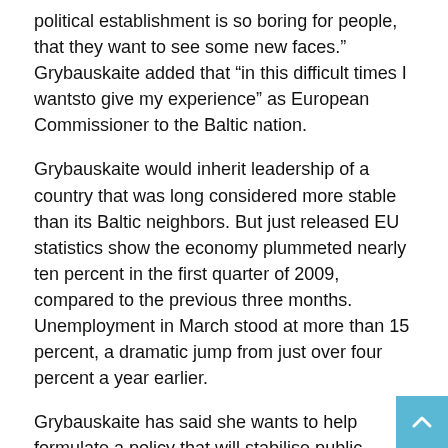political establishment is so boring for people, that they want to see some new faces.” Grybauskaite added that “in this difficult times I wantsto give my experience” as European Commissioner to the Baltic nation.
Grybauskaite would inherit leadership of a country that was long considered more stable than its Baltic neighbors. But just released EU statistics show the economy plummeted nearly ten percent in the first quarter of 2009, compared to the previous three months. Unemployment in March stood at more than 15 percent, a dramatic jump from just over four percent a year earlier.
Grybauskaite has said she wants to help formulate a policy that will stabilise public finances, stimulate exports, absorb EU aid faster and provide tax breaks for small and medium-sized businesses.